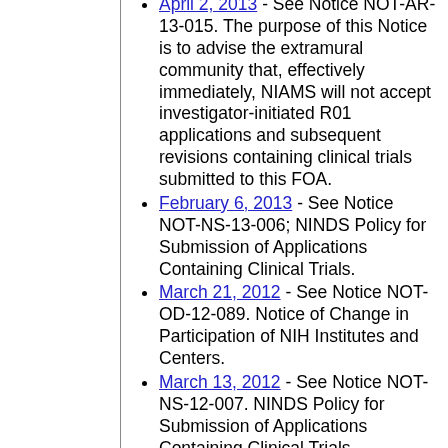April 2, 2013 - See Notice NOT-AR-13-015. The purpose of this Notice is to advise the extramural community that, effectively immediately, NIAMS will not accept investigator-initiated R01 applications and subsequent revisions containing clinical trials submitted to this FOA.
February 6, 2013 - See Notice NOT-NS-13-006; NINDS Policy for Submission of Applications Containing Clinical Trials.
March 21, 2012 - See Notice NOT-OD-12-089. Notice of Change in Participation of NIH Institutes and Centers.
March 13, 2012 - See Notice NOT-NS-12-007. NINDS Policy for Submission of Applications Containing Clinical Trials.
September 14, 2011 - See Notice NOT- DA-11-022. The National Institute on Drug Abuse (NIDA) and the National Institute on...